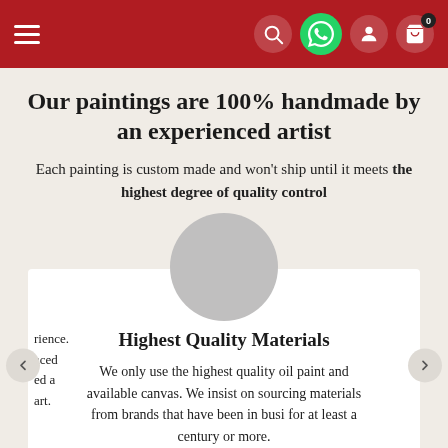Navigation header with menu, WhatsApp, profile, and cart icons
Our paintings are 100% handmade by an experienced artist
Each painting is custom made and won't ship until it meets the highest degree of quality control
[Figure (illustration): Gray circular profile photo placeholder above a white card]
Highest Quality Materials
We only use the highest quality oil paint and available canvas. We insist on sourcing materials from brands that have been in business for at least a century or more.